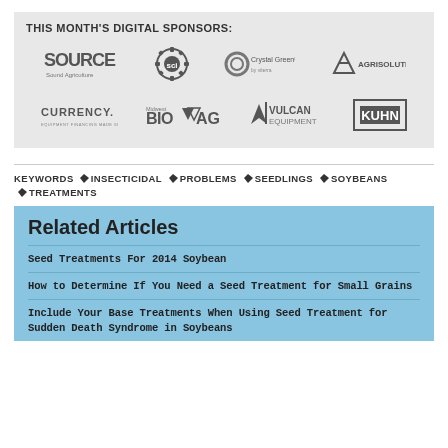THIS MONTH'S DIGITAL SPONSORS:
[Figure (logo): Sponsor logos row 1: SOURCE Sound Agriculture, Soil (gear logo), Crystal Green, AgriSolutions]
[Figure (logo): Sponsor logos row 2: Currency, Midwest BioAg, Vulcan Equipment, Kuhn]
KEYWORDS  INSECTICIDAL  PROBLEMS  SEEDLINGS  SOYBEANS  TREATMENTS
Related Articles
Seed Treatments For 2014 Soybean
How to Determine If You Need a Seed Treatment for Small Grains
Include Your Base Treatments When Using Seed Treatment for Sudden Death Syndrome in Soybeans